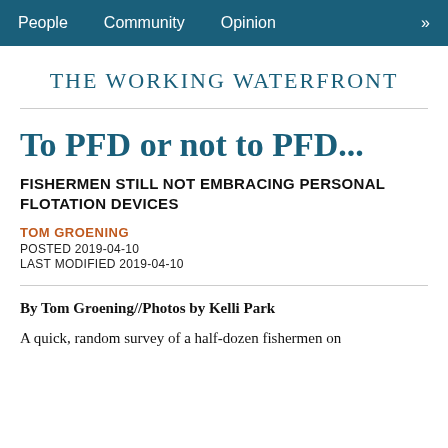People   Community   Opinion   »
THE WORKING WATERFRONT
To PFD or not to PFD...
FISHERMEN STILL NOT EMBRACING PERSONAL FLOTATION DEVICES
TOM GROENING
POSTED 2019-04-10
LAST MODIFIED 2019-04-10
By Tom Groening//Photos by Kelli Park
A quick, random survey of a half-dozen fishermen on